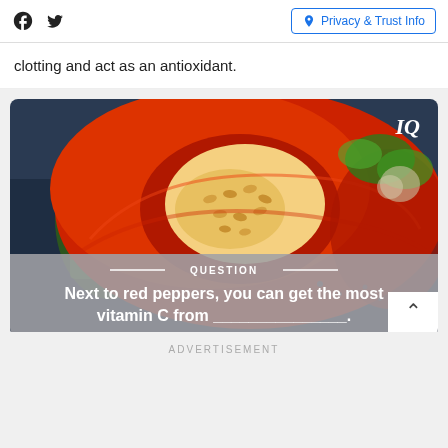Facebook Twitter | Privacy & Trust Info
clotting and act as an antioxidant.
[Figure (photo): Close-up photo of a sliced red bell pepper showing seeds inside, with green herbs and garlic in the background on a dark surface. 'IQ' text badge in top-right corner. Overlaid gray panel with 'QUESTION' label and text: 'Next to red peppers, you can get the most vitamin C from _______________.]
ADVERTISEMENT